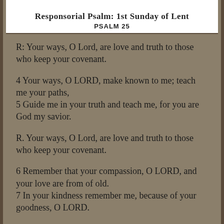Responsorial Psalm: 1st Sunday of Lent
PSALM 25
R: Your ways, O Lord, are love and truth to those who keep your covenant.
4 Your ways, O LORD, make known to me; teach me your paths,
5 Guide me in your truth and teach me, for you are God my savior.
R. Your ways, O Lord, are love and truth to those who keep your covenant.
6 Remember that your compassion, O LORD, and your love are from of old.
7 In your kindness remember me, because of your goodness, O LORD.